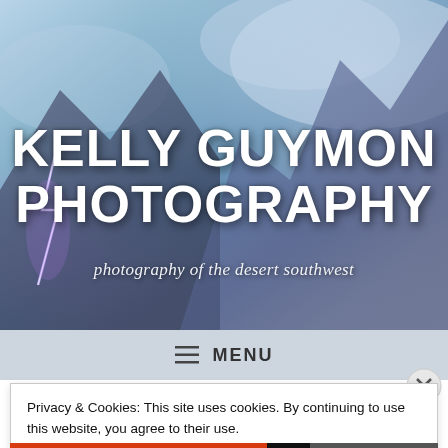[Figure (photo): Hero background image of stormy sky with lightning and desert mountains, blue-grey tones]
KELLY GUYMON PHOTOGRAPHY
photography of the desert southwest
≡  MENU
Privacy & Cookies: This site uses cookies. By continuing to use this website, you agree to their use.
To find out more, including how to control cookies, see here: Cookie Policy
Close and accept